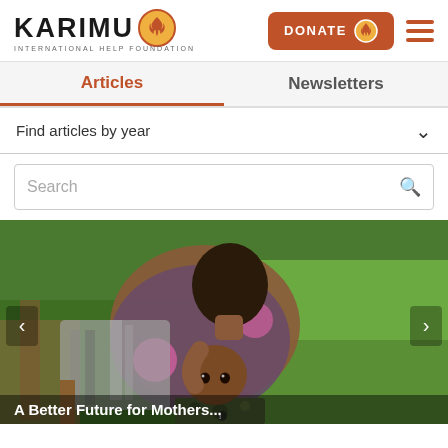KARIMU INTERNATIONAL HELP FOUNDATION — DONATE — menu
Articles | Newsletters
Find articles by year
Search
[Figure (photo): A woman leaning over a young child/toddler outdoors, with green grass in the background. The woman is wearing a pink and brown patterned top. The child is wearing camouflage clothing and looking at the camera.]